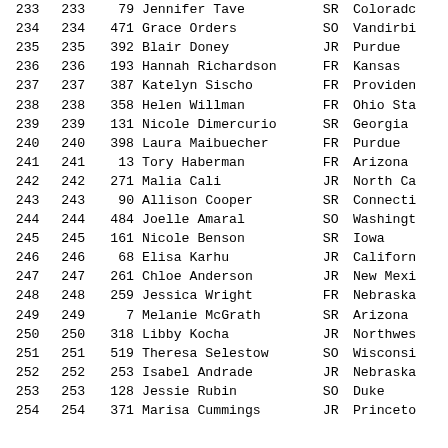| Rank | Rank | Num | Name | Yr | School |
| --- | --- | --- | --- | --- | --- |
| 233 | 233 | 79 | Jennifer Tave | SR | Colorado |
| 234 | 234 | 471 | Grace Orders | SO | Vanderbilt |
| 235 | 235 | 392 | Blair Doney | JR | Purdue |
| 236 | 236 | 193 | Hannah Richardson | FR | Kansas |
| 237 | 237 | 387 | Katelyn Sischo | FR | Providence |
| 238 | 238 | 358 | Helen Willman | FR | Ohio State |
| 239 | 239 | 131 | Nicole Dimercurio | SR | Georgia |
| 240 | 240 | 398 | Laura Maibuecher | FR | Purdue |
| 241 | 241 | 13 | Tory Haberman | FR | Arizona |
| 242 | 242 | 271 | Malia Cali | JR | North Carolina |
| 243 | 243 | 90 | Allison Cooper | SR | Connecticut |
| 244 | 244 | 484 | Joelle Amaral | SO | Washington |
| 245 | 245 | 161 | Nicole Benson | SR | Iowa |
| 246 | 246 | 68 | Elisa Karhu | JR | California |
| 247 | 247 | 261 | Chloe Anderson | JR | New Mexico |
| 248 | 248 | 259 | Jessica Wright | FR | Nebraska |
| 249 | 249 | 7 | Melanie McGrath | SR | Arizona |
| 250 | 250 | 318 | Libby Kocha | JR | Northwestern |
| 251 | 251 | 519 | Theresa Selestow | SO | Wisconsin |
| 252 | 252 | 253 | Isabel Andrade | JR | Nebraska |
| 253 | 253 | 128 | Jessie Rubin | SO | Duke |
| 254 | 254 | 371 | Marisa Cummings | JR | Princeton |